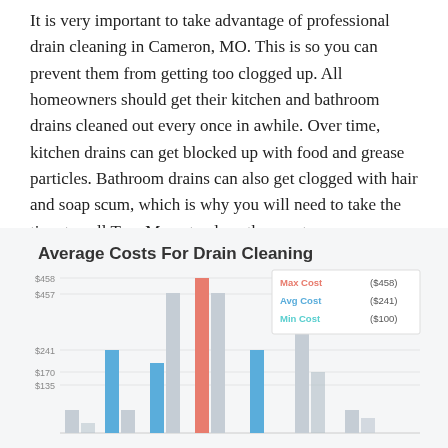It is very important to take advantage of professional drain cleaning in Cameron, MO. This is so you can prevent them from getting too clogged up. All homeowners should get their kitchen and bathroom drains cleaned out every once in awhile. Over time, kitchen drains can get blocked up with food and grease particles. Bathroom drains can also get clogged with hair and soap scum, which is why you will need to take the time to call Tree Menu to clean them out.
[Figure (bar-chart): Average Costs For Drain Cleaning]